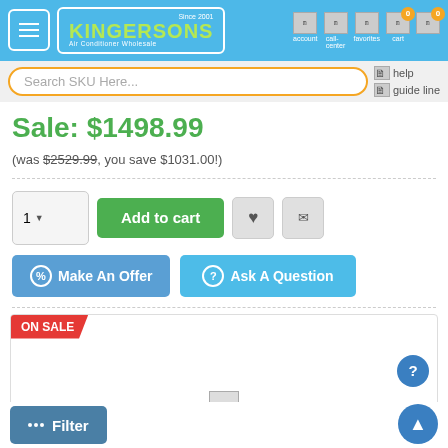Kingersons Air Conditioner Wholesale — Since 2001
Search SKU Here...
help | guide line
Sale: $1498.99
(was $2529.99, you save $1031.00!)
1 | Add to cart
Make An Offer | Ask A Question
[Figure (screenshot): Product card with ON SALE ribbon badge]
Filter